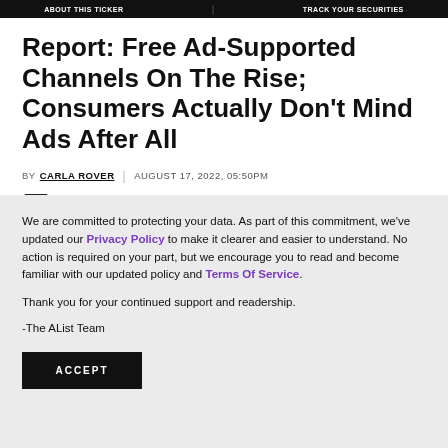ABOUT THIS TICKER | TRACK YOUR SECURITIES
Report: Free Ad-Supported Channels On The Rise; Consumers Actually Don't Mind Ads After All
BY CARLA ROVER | AUGUST 17, 2022, 05:50PM
We are committed to protecting your data. As part of this commitment, we've updated our Privacy Policy to make it clearer and easier to understand. No action is required on your part, but we encourage you to read and become familiar with our updated policy and Terms Of Service.
Thank you for your continued support and readership.
-The AList Team
ACCEPT